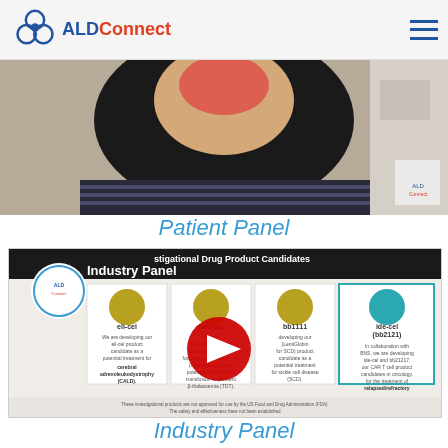ALDConnect
[Figure (screenshot): Video screenshot showing a person's face during a Patient Panel video call, with ALD Connect branding visible]
Patient Panel
[Figure (screenshot): YouTube video thumbnail for Industry Panel showing investigational drug product candidates: eli-cel, beti-cel, bb1111, ide-cel (bb2121), with ALD Connect logo and play button overlay]
Industry Panel